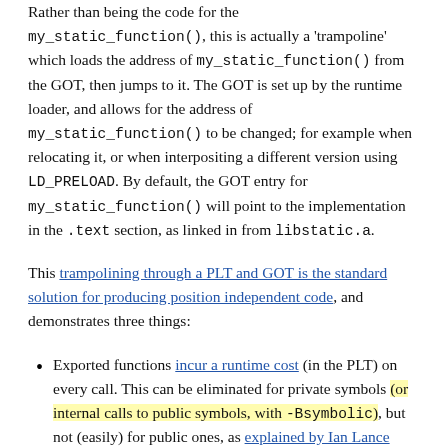Rather than being the code for my_static_function(), this is actually a 'trampoline' which loads the address of my_static_function() from the GOT, then jumps to it. The GOT is set up by the runtime loader, and allows for the address of my_static_function() to be changed; for example when relocating it, or when interpositing a different version using LD_PRELOAD. By default, the GOT entry for my_static_function() will point to the implementation in the .text section, as linked in from libstatic.a.
This trampolining through a PLT and GOT is the standard solution for producing position independent code, and demonstrates three things:
Exported functions incur a runtime cost (in the PLT) on every call. This can be eliminated for private symbols (or internal calls to public symbols, with -Bsymbolic), but not (easily) for public ones, as explained by Ian Lance